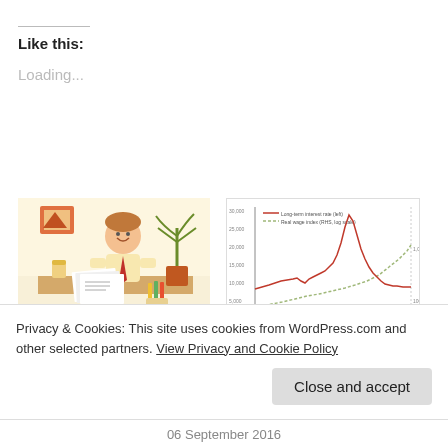Like this:
Loading...
[Figure (illustration): Cartoon illustration of an office worker sitting at a desk with papers, a drink, and a plant in the background]
Mind over matter: is scarcity as much
[Figure (line-chart): Line chart showing Long-term interest rate (red) and Real wage index (green, log scale) over time, with a sharp peak in the red line]
Robot Macroeconomics:
Privacy & Cookies: This site uses cookies from WordPress.com and other selected partners. View Privacy and Cookie Policy
Close and accept
06 September 2016